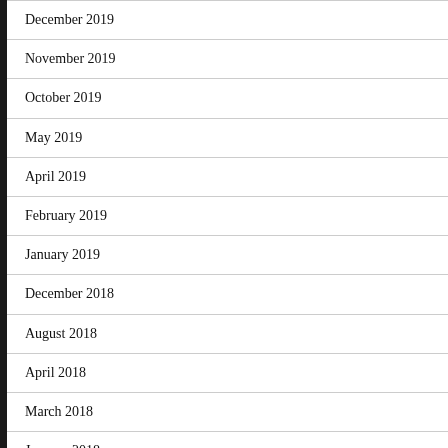December 2019
November 2019
October 2019
May 2019
April 2019
February 2019
January 2019
December 2018
August 2018
April 2018
March 2018
January 2018